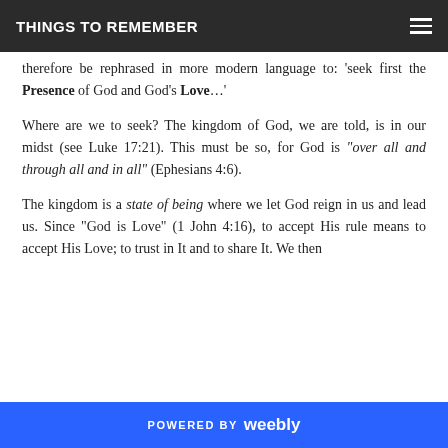THINGS TO REMEMBER
therefore be rephrased in more modern language to: ‘seek first the Presence of God and God’s Love…’
Where are we to seek? The kingdom of God, we are told, is in our midst (see Luke 17:21). This must be so, for God is “over all and through all and in all” (Ephesians 4:6).
The kingdom is a state of being where we let God reign in us and lead us. Since “God is Love” (1 John 4:16), to accept His rule means to accept His Love; to trust in It and to share It. We then
POWERED BY weebly